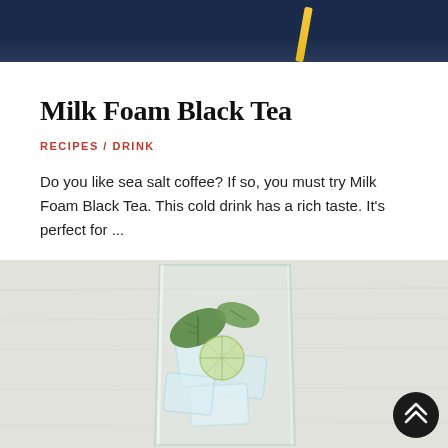[Figure (photo): Top portion of a dark blue bowl or cup with a yellow straw, cropped at the top of the page]
Milk Foam Black Tea
RECIPES / DRINK
Do you like sea salt coffee? If so, you must try Milk Foam Black Tea. This cold drink has a rich taste. It's perfect for ...
READ MORE
[Figure (photo): A glass filled with ice, lime or lemon slices, and mint leaves on a light background]